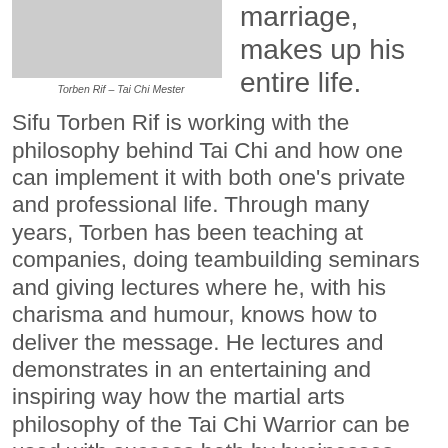[Figure (photo): Photo of Torben Rif, a Tai Chi Master, partially visible at the top of the page]
Torben Rif – Tai Chi Mester
marriage, makes up his entire life.
Sifu Torben Rif is working with the philosophy behind Tai Chi and how one can implement it with both one's private and professional life. Through many years, Torben has been teaching at companies, doing teambuilding seminars and giving lectures where he, with his charisma and humour, knows how to deliver the message. He lectures and demonstrates in an entertaining and inspiring way how the martial arts philosophy of the Tai Chi Warrior can be used with success both by businesses and privately.